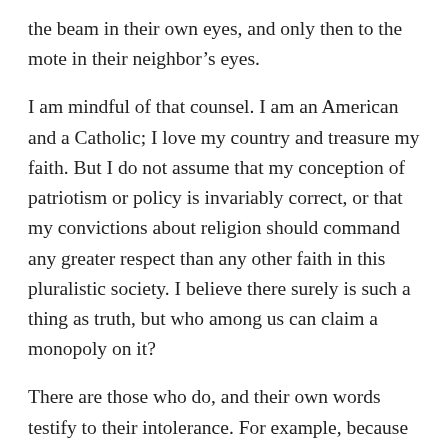the beam in their own eyes, and only then to the mote in their neighbor's eyes.
I am mindful of that counsel. I am an American and a Catholic; I love my country and treasure my faith. But I do not assume that my conception of patriotism or policy is invariably correct, or that my convictions about religion should command any greater respect than any other faith in this pluralistic society. I believe there surely is such a thing as truth, but who among us can claim a monopoly on it?
There are those who do, and their own words testify to their intolerance. For example, because the Moral Majority has worked with members of different denominations, one fundamentalist group has denounced Dr. Falwell for hastening the ecumenical church and for “yoking together with Roman Catholics, Mormons, and others.” I am relieved that Dr. Falwell does not regard that as a sin, and on this issue, he himself has